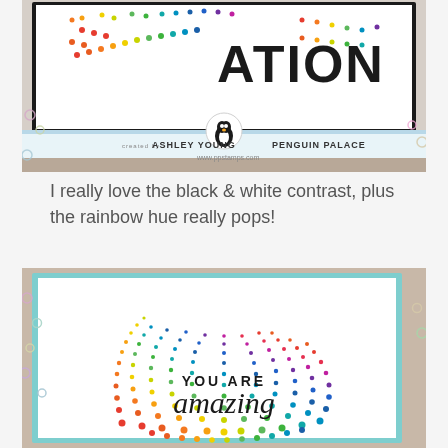[Figure (photo): Craft card photo showing rainbow halftone dot pattern with text 'ATION' in black letters on a white card, placed on a wooden surface with sequins around it. Banner at bottom reads 'created by ASHLEY YOUNG PENGUIN PALACE www.ppstamps.com' with a penguin logo.]
I really love the black & white contrast, plus the rainbow hue really pops!
[Figure (photo): Craft card photo showing a white card with rainbow halftone dot sunburst pattern and text 'YOU ARE amazing' in black lettering, placed on a wooden/craft surface with colorful sequins scattered around.]